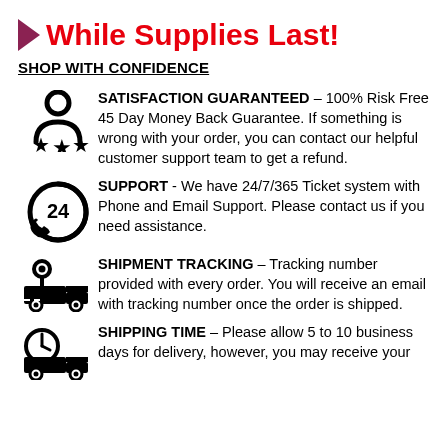► While Supplies Last!
SHOP WITH CONFIDENCE
SATISFACTION GUARANTEED – 100% Risk Free 45 Day Money Back Guarantee. If something is wrong with your order, you can contact our helpful customer support team to get a refund.
SUPPORT - We have 24/7/365 Ticket system with Phone and Email Support. Please contact us if you need assistance.
SHIPMENT TRACKING – Tracking number provided with every order. You will receive an email with tracking number once the order is shipped.
SHIPPING TIME – Please allow 5 to 10 business days for delivery, however, you may receive your